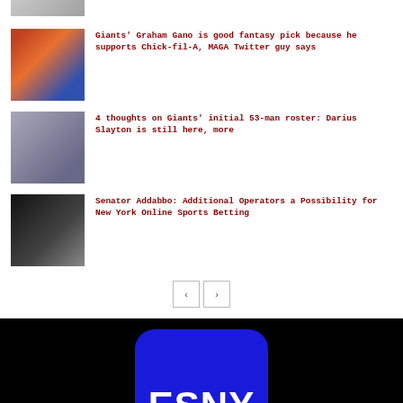[Figure (photo): Partial article thumbnail at top, cropped]
Giants' Graham Gano is good fantasy pick because he supports Chick-fil-A, MAGA Twitter guy says
4 thoughts on Giants' initial 53-man roster: Darius Slayton is still here, more
Senator Addabbo: Additional Operators a Possibility for New York Online Sports Betting
[Figure (logo): ESNY logo — white text on blue rounded rectangle, black background]